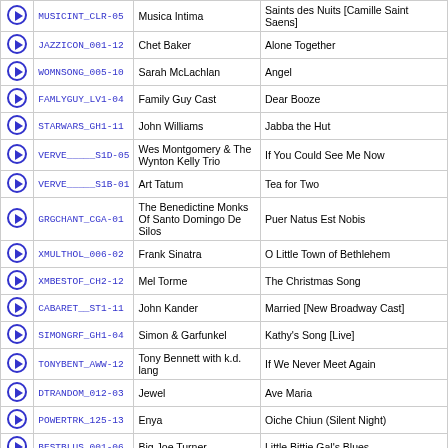|  | Code | Artist | Song |
| --- | --- | --- | --- |
| ▶ | MUSICINT_CLR-05 | Musica Intima | Saints des Nuits [Camille Saint Saens] |
| ▶ | JAZZICON_001-12 | Chet Baker | Alone Together |
| ▶ | WOMNSONG_005-10 | Sarah McLachlan | Angel |
| ▶ | FAMLYGUY_LV1-04 | Family Guy Cast | Dear Booze |
| ▶ | STARWARS_GH1-11 | John Williams | Jabba the Hut |
| ▶ | VERVE_____S1D-05 | Wes Montgomery & The Wynton Kelly Trio | If You Could See Me Now |
| ▶ | VERVE_____S1B-01 | Art Tatum | Tea for Two |
| ▶ | GRGCHANT_CGA-01 | The Benedictine Monks Of Santo Domingo De Silos | Puer Natus Est Nobis |
| ▶ | XMULTHOL_006-02 | Frank Sinatra | O Little Town of Bethlehem |
| ▶ | XMBESTOF_CH2-12 | Mel Torme | The Christmas Song |
| ▶ | CABARET__ST1-11 | John Kander | Married [New Broadway Cast] |
| ▶ | SIMONGRF_GH1-04 | Simon & Garfunkel | Kathy's Song [Live] |
| ▶ | TONYBENT_AWW-12 | Tony Bennett with k.d. lang | If We Never Meet Again |
| ▶ | DTRANDOM_012-03 | Jewel | Ave Maria |
| ▶ | POWERTRK_125-13 | Enya | Oiche Chiun (Silent Night) |
| ▶ | BESTBLUS_001-06 | Big Joe Turner | Little Bittie Gal's Blues |
| ▶ | MUSICINT_CLR-04 | Musica Intima | O, Mistress mine - iii. Shall I compare thee to a summer's day? [Nils Lindberg] |
| ▶ | VERVE_____U02-14 | Nina Simone | Black Is the Color of My True Love's Hair |